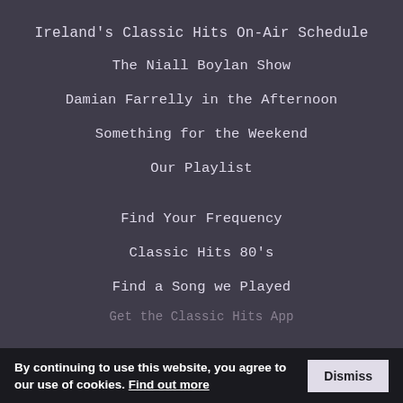Ireland's Classic Hits On-Air Schedule
The Niall Boylan Show
Damian Farrelly in the Afternoon
Something for the Weekend
Our Playlist
Find Your Frequency
Classic Hits 80's
Find a Song we Played
By continuing to use this website, you agree to our use of cookies. Find out more  Dismiss
Get the Classic Hits App